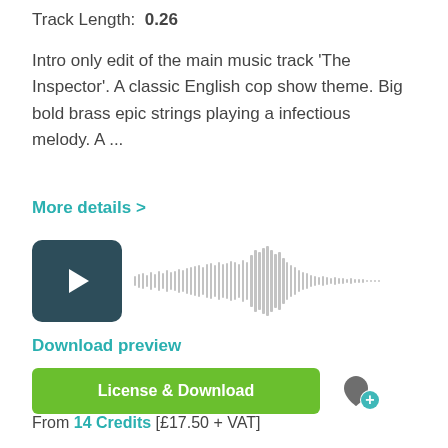Track Length: 0.26
Intro only edit of the main music track 'The Inspector'. A classic English cop show theme. Big bold brass epic strings playing a infectious melody. A ...
More details >
[Figure (other): Audio player with dark teal play button and waveform visualization showing audio track]
Download preview
License & Download
From 14 Credits [£17.50 + VAT]
The Inspector Stinger 01